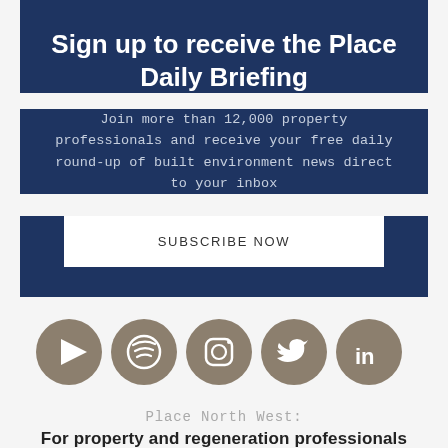Sign up to receive the Place Daily Briefing
Join more than 12,000 property professionals and receive your free daily round-up of built environment news direct to your inbox
SUBSCRIBE NOW
[Figure (infographic): Row of five social media icons (YouTube, Spotify, Instagram, Twitter, LinkedIn) as white icons on grey circles]
Place North West:
For property and regeneration professionals